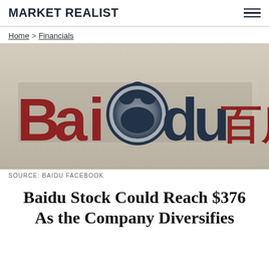MARKET REALIST
Home > Financials
[Figure (photo): Baidu logo sign on a wall — red letters spelling 'Baidu' with a navy blue paw print replacing the letter 'o', and Chinese characters '百度' in red on the right]
SOURCE: BAIDU FACEBOOK
Baidu Stock Could Reach $376 As the Company Diversifies